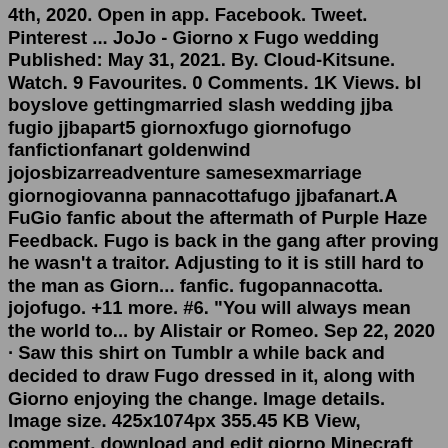4th, 2020. Open in app. Facebook. Tweet. Pinterest ... JoJo - Giorno x Fugo wedding Published: May 31, 2021. By. Cloud-Kitsune. Watch. 9 Favourites. 0 Comments. 1K Views. bl boyslove gettingmarried slash wedding jjba fugio jjbapart5 giornoxfugo giornofugo fanfictionfanart goldenwind jojosbizarreadventure samesexmarriage giornogiovanna pannacottafugo jjbafanart.A FuGio fanfic about the aftermath of Purple Haze Feedback. Fugo is back in the gang after proving he wasn't a traitor. Adjusting to it is still hard to the man as Giorn... fanfic. fugopannacotta. jojofugo. +11 more. #6. "You will always mean the world to... by Alistair or Romeo. Sep 22, 2020 · Saw this shirt on Tumblr a while back and decided to draw Fugo dressed in it, along with Giorno enjoying the change. Image details. Image size. 425x1074px 355.45 KB View, comment, download and edit giorno Minecraft skins. brass fittings for water lines Giorno meets with Fugo shortly after the latter's defeat of Massimo Volpe, healing his injuries with Gold Experience. Giorno